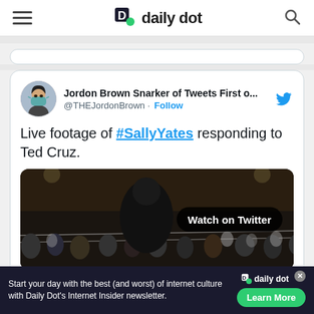daily dot
[Figure (screenshot): Embedded tweet from Jordon Brown (@THEJordonBrown) with text: 'Live footage of #SallyYates responding to Ted Cruz.' with a video thumbnail showing a wrestling scene with 'Watch on Twitter' overlay badge.]
https://twitter.com/Rottenplanet/status/86167551628
Start your day with the best (and worst) of internet culture with Daily Dot's Internet Insider newsletter.